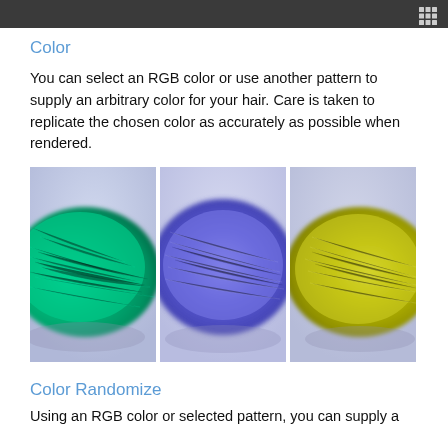Color
You can select an RGB color or use another pattern to supply an arbitrary color for your hair. Care is taken to replicate the chosen color as accurately as possible when rendered.
[Figure (photo): Three side-by-side rendered hair images showing different colors: teal/green, blue/purple, and yellow/chartreuse hair strands against a light bluish-grey background.]
Color Randomize
Using an RGB color or selected pattern, you can supply a